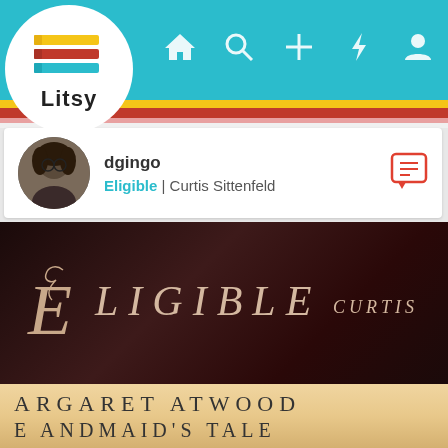[Figure (screenshot): Litsy app logo — colorful stacked books icon above the word Litsy in a white circle]
[Figure (screenshot): Litsy app navigation bar with home, search, plus, lightning, and profile icons on teal background with yellow, red, and pink stripes below]
dgingo
Eligible | Curtis Sittenfeld
[Figure (photo): Photo of two stacked books: top book is 'Eligible' by Curtis Sittenfeld (dark maroon cover with ornate script), bottom book is 'The Handmaid's Tale' by Margaret Atwood (light tan/gold spine)]